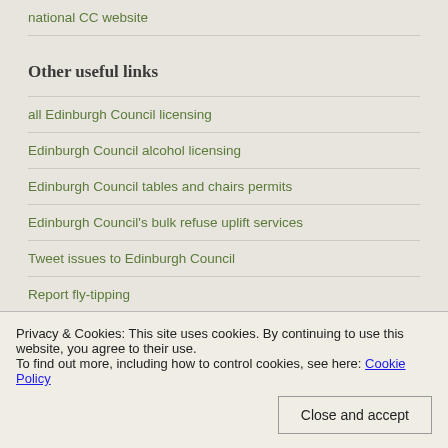national CC website
Other useful links
all Edinburgh Council licensing
Edinburgh Council alcohol licensing
Edinburgh Council tables and chairs permits
Edinburgh Council's bulk refuse uplift services
Tweet issues to Edinburgh Council
Report fly-tipping
Privacy & Cookies: This site uses cookies. By continuing to use this website, you agree to their use.
To find out more, including how to control cookies, see here: Cookie Policy
Close and accept